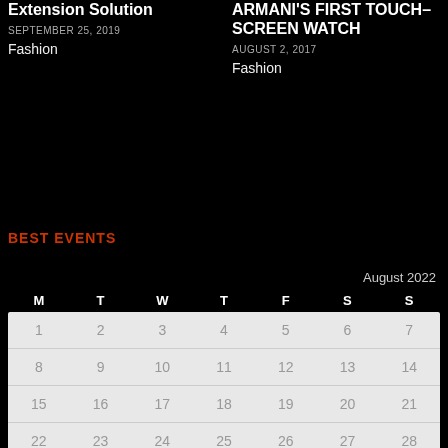Extension Solution
SEPTEMBER 25, 2019
Fashion
ARMANI'S FIRST TOUCH–SCREEN WATCH
AUGUST 2, 2017
Fashion
BEST EVENTS
| M | T | W | T | F | S | S |
| --- | --- | --- | --- | --- | --- | --- |
| 1 | 2 | 3 | 4 | 5 | 6 | 7 |
| 8 | 9 | 10 | 11 | 12 | 13 | 14 |
| 15 | 16 | 17 | 18 | 19 | 20 | 21 |
| 22 | 23 | 24 | 25 | 26 | 27 | 28 |